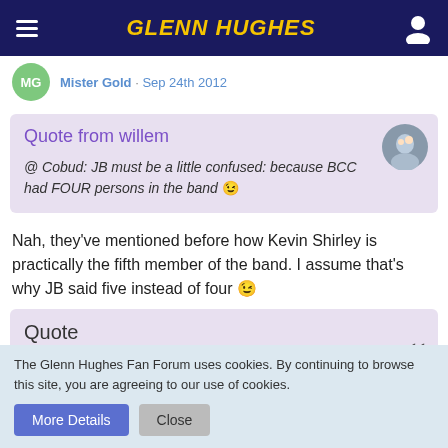GLENN HUGHES
Mister Gold · Sep 24th 2012
Quote from willem
@ Cobud: JB must be a little confused: because BCC had FOUR persons in the band 😉
Nah, they've mentioned before how Kevin Shirley is practically the fifth member of the band. I assume that's why JB said five instead of four 😉
Quote
The Glenn Hughes Fan Forum uses cookies. By continuing to browse this site, you are agreeing to our use of cookies.